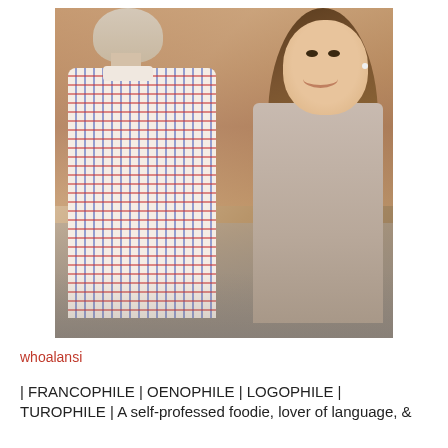[Figure (photo): A couple embracing outdoors. A man in a red and blue checkered gingham shirt is seen from behind, and a woman with long brown hair is smiling and facing the camera, leaning into him. Brick wall in background.]
whoalansi
| FRANCOPHILE | OENOPHILE | LOGOPHILE | TUROPHILE | A self-professed foodie, lover of language, &